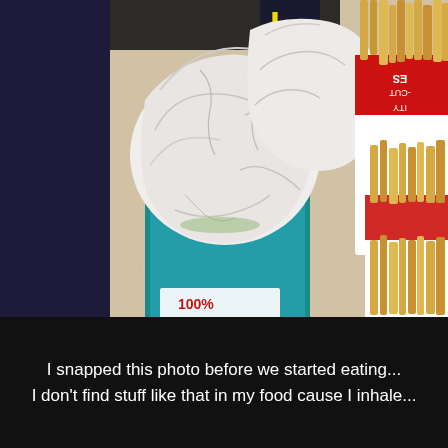[Figure (photo): A photo of fast food items on a table: a burger wrapped in white paper sitting in a teal/blue container, and French fries in a red and white carton on the right side. The bottom of the burger wrapper shows '100%' text. A dark background frames the photo on the left side.]
I snapped this photo before we started eating... I don't find stuff like that in my food cause I inhale...